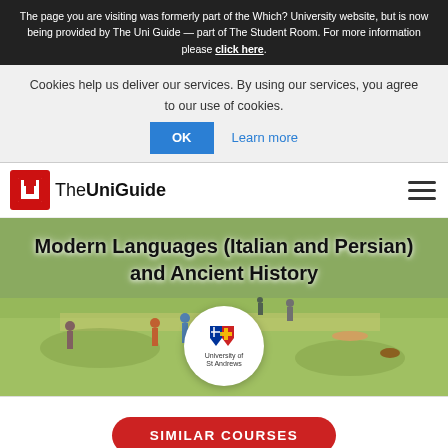The page you are visiting was formerly part of the Which? University website, but is now being provided by The Uni Guide — part of The Student Room. For more information please click here.
Cookies help us deliver our services. By using our services, you agree to our use of cookies.
OK  Learn more
[Figure (logo): The UniGuide logo with red U icon and hamburger menu]
Modern Languages (Italian and Persian) and Ancient History
[Figure (logo): University of St Andrews circular logo]
SIMILAR COURSES